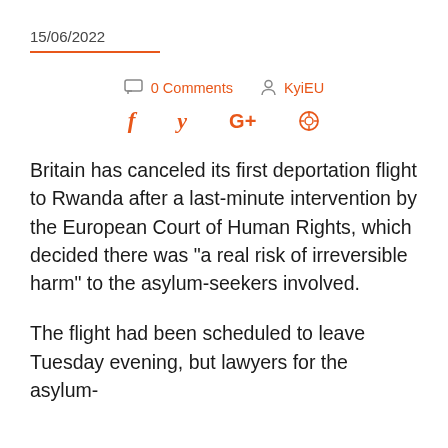15/06/2022
0 Comments   KyiEU
f  y  G+   pinterest
Britain has canceled its first deportation flight to Rwanda after a last-minute intervention by the European Court of Human Rights, which decided there was “a real risk of irreversible harm” to the asylum-seekers involved.
The flight had been scheduled to leave Tuesday evening, but lawyers for the asylum-